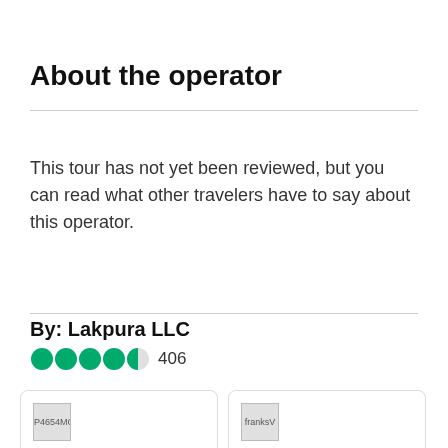About the operator
This tour has not yet been reviewed, but you can read what other travelers have to say about this operator.
By: Lakpura LLC
406
Perfect... P4654MGchristinas
0  0
We were traveling from the airport to the city center of Colombo and also booked a
Read more
An awe... franksV5181RY
0  0
We booked a three guided tour at Udaw National Park. Our c
Read more